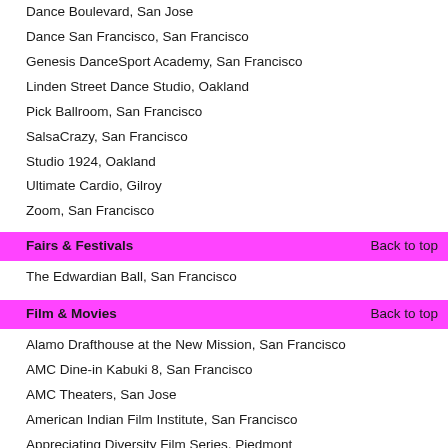Dance Boulevard, San Jose
Dance San Francisco, San Francisco
Genesis DanceSport Academy, San Francisco
Linden Street Dance Studio, Oakland
Pick Ballroom, San Francisco
SalsaCrazy, San Francisco
Studio 1924, Oakland
Ultimate Cardio, Gilroy
Zoom, San Francisco
Fairs & Festivals
The Edwardian Ball, San Francisco
Film & Movies
Alamo Drafthouse at the New Mission, San Francisco
AMC Dine-in Kabuki 8, San Francisco
AMC Theaters, San Jose
American Indian Film Institute, San Francisco
Appreciating Diversity Film Series, Piedmont
Berkeley Art Museum and Pacific Film Archive, Berkeley
Black X Film Festival, San Francisco
Blue Light Cinema, Cupertino
California Theater - Berkeley, Berkeley
Camera 12 Cinemas, San Jose
Camera 3 Cinema, San Jose
Castro Theatre, San Francisco